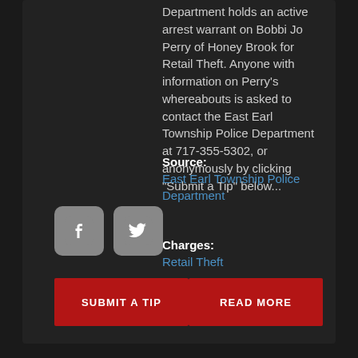Department holds an active arrest warrant on Bobbi Jo Perry of Honey Brook for Retail Theft. Anyone with information on Perry's whereabouts is asked to contact the East Earl Township Police Department at 717-355-5302, or anonymously by clicking "Submit a Tip" below...
Source:
East Earl Township Police Department
Charges:
Retail Theft
[Figure (logo): Facebook icon button]
[Figure (logo): Twitter icon button]
SUBMIT A TIP
READ MORE